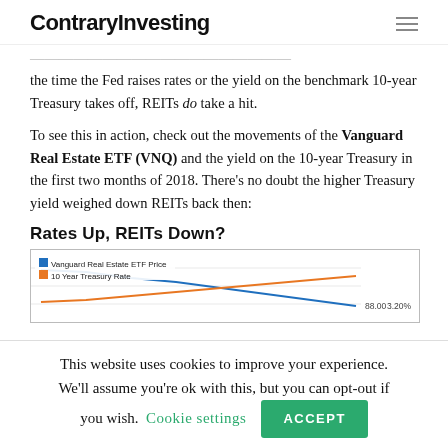ContraryInvesting
This wouldn't be alarming because it tends to find around the time the Fed raises rates or the yield on the benchmark 10-year Treasury takes off, REITs do take a hit.
To see this in action, check out the movements of the Vanguard Real Estate ETF (VNQ) and the yield on the 10-year Treasury in the first two months of 2018. There's no doubt the higher Treasury yield weighed down REITs back then:
Rates Up, REITs Down?
[Figure (line-chart): Dual-axis line chart showing Vanguard Real Estate ETF Price and 10 Year Treasury Rate, with values 88.00 and 3.20% visible on the right axis labels.]
This website uses cookies to improve your experience. We'll assume you're ok with this, but you can opt-out if you wish.